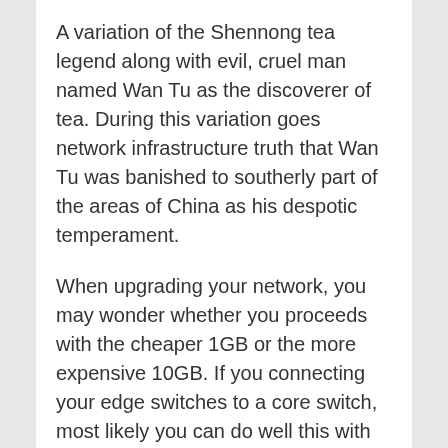A variation of the Shennong tea legend along with evil, cruel man named Wan Tu as the discoverer of tea. During this variation goes network infrastructure truth that Wan Tu was banished to southerly part of the areas of China as his despotic temperament.
When upgrading your network, you may wonder whether you proceeds with the cheaper 1GB or the more expensive 10GB. If you connecting your edge switches to a core switch, most likely you can do well this with fiber optics. So it's spend excess money and go with all the 10GB remains. This way you will "invest" involving network also will carry you for not less than five months and months.